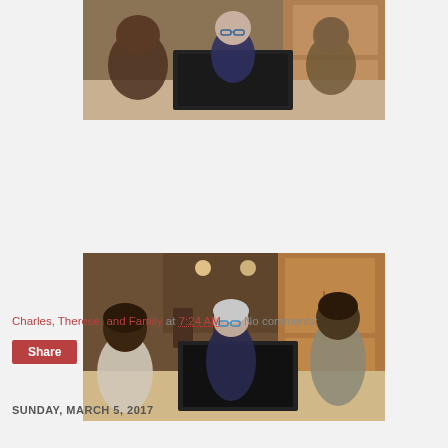[Figure (photo): Two children and an older woman with glasses looking at a laptop at a kitchen table, viewed from the side. Warm kitchen with wood cabinets in background.]
[Figure (photo): An older woman with glasses sitting at a kitchen table with a laptop, a young child standing to the left and an older child to the right. Warm lit kitchen in background.]
Charles, Therese, and Family at 7:24 AM     No comments:
Share
SUNDAY, MARCH 5, 2017